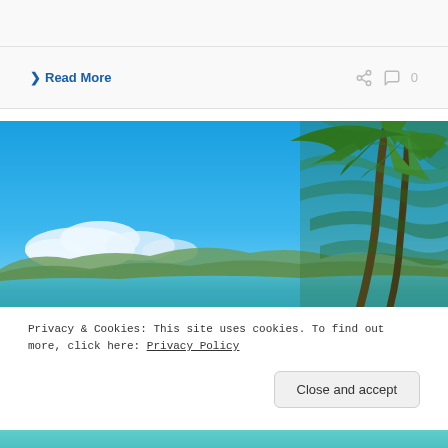❯ Read More
[Figure (photo): Tropical beach scene with palm trees on the right side, blue sky with white clouds, mountains in the background, and turquoise water. Lush green palm fronds dominate the right portion of the image.]
Privacy & Cookies: This site uses cookies. To find out more, click here: Privacy Policy
Close and accept